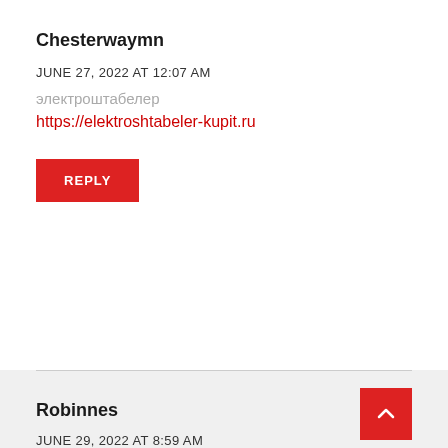Chesterwaymn
JUNE 27, 2022 AT 12:07 AM
электроштабелер
https://elektroshtabeler-kupit.ru
REPLY
Robinnes
JUNE 29, 2022 AT 8:59 AM